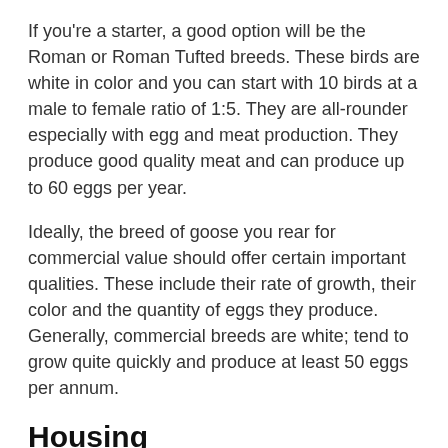If you're a starter, a good option will be the Roman or Roman Tufted breeds. These birds are white in color and you can start with 10 birds at a male to female ratio of 1:5. They are all-rounder especially with egg and meat production. They produce good quality meat and can produce up to 60 eggs per year.
Ideally, the breed of goose you rear for commercial value should offer certain important qualities. These include their rate of growth, their color and the quantity of eggs they produce. Generally, commercial breeds are white; tend to grow quite quickly and produce at least 50 eggs per annum.
Housing
The ideal housing for geese should provide enough space, adequate pool of water and protection from harsh weather.